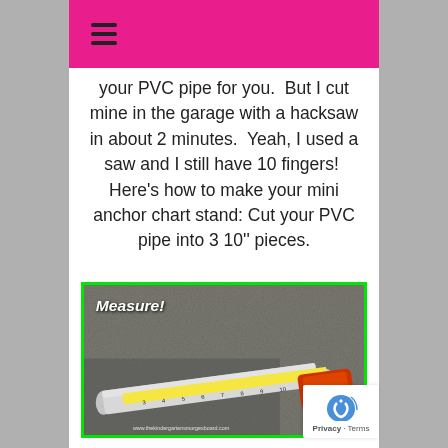≡ (hamburger menu)
your PVC pipe for you.  But I cut mine in the garage with a hacksaw in about 2 minutes.  Yeah, I used a saw and I still have 10 fingers!  Here's how to make your mini anchor chart stand: Cut your PVC pipe into 3 10" pieces.
[Figure (photo): Photo of a white PVC pipe being measured with a yellow tape measure on a concrete surface, with text 'Measure!' overlaid in white bold italic. Website watermark reads www.thekindergartensmorgesboard.com]
www.thekindergartensmorgesboard.com